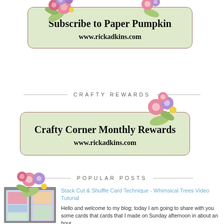[Figure (illustration): Light green rounded rectangle card with floral decorations (purple, pink flowers with green leaves). Contains bold text 'Subscribe to Paper Pumpkin' and URL www.rickadkins.com]
CRAFTY REWARDS
[Figure (illustration): Light green rounded rectangle card with floral decorations. Contains bold text 'Crafty Corner Monthly Rewards' and URL www.rickadkins.com]
POPULAR POSTS
[Figure (photo): Thumbnail photo of craft cards]
Stack Cut & Shuffle Card Technique - Whimsical Trees Video Tutorial
Hello and welcome to my blog; today I am going to share with you some cards that cards that I made on Sunday afternoon in about an hour.